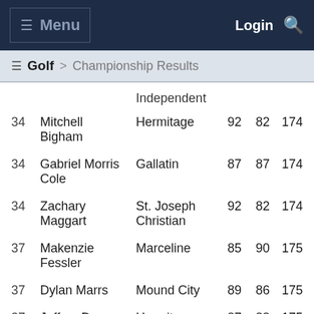≡ Menu   Login 🔍
≡ Golf > Championship Results
|  |  | Independent |  |  |  |
| --- | --- | --- | --- | --- | --- |
| 34 | Mitchell Bigham | Hermitage | 92 | 82 | 174 |
| 34 | Gabriel Morris Cole | Gallatin | 87 | 87 | 174 |
| 34 | Zachary Maggart | St. Joseph Christian | 92 | 82 | 174 |
| 37 | Makenzie Fessler | Marceline | 85 | 90 | 175 |
| 37 | Dylan Marrs | Mound City | 89 | 86 | 175 |
| 37 | Jeffrey Dean Salmon | Hermitage | 87 | 88 | 175 |
| 37 | Matthew Wilson | Purdy | 79 | 96 | 175 |
| 41 | Jesse Trey Burton | Westran | 92 | 84 | 176 |
| 41 | Kodi Shockey | Lutie | 85 | 91 | 176 |